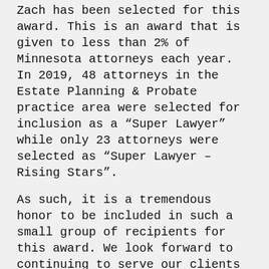Zach has been selected for this award. This is an award that is given to less than 2% of Minnesota attorneys each year. In 2019, 48 attorneys in the Estate Planning & Probate practice area were selected for inclusion as a “Super Lawyer” while only 23 attorneys were selected as “Super Lawyer – Rising Stars”.
As such, it is a tremendous honor to be included in such a small group of recipients for this award. We look forward to continuing to serve our clients and community by providing high quality estate planning, probate, and trust administration services at our locations in Burnsville and Woodbury/Lake Elmo.
You can check out Zach’s profile on Super Lawyers here: